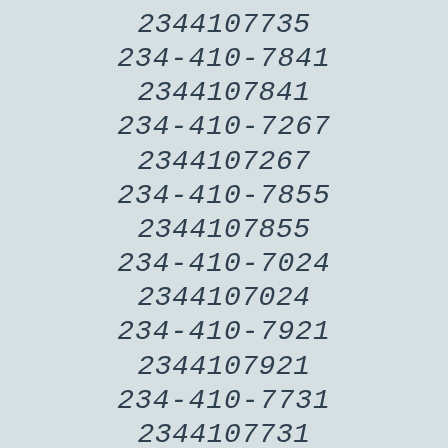2344107735
234-410-7841
2344107841
234-410-7267
2344107267
234-410-7855
2344107855
234-410-7024
2344107024
234-410-7921
2344107921
234-410-7731
2344107731
234-410-7618
2344107618
234-410-7318